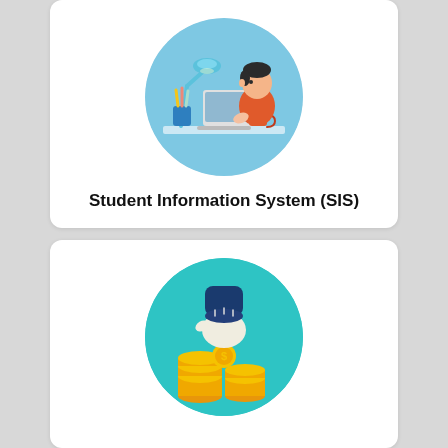[Figure (illustration): Illustration of a student sitting at a desk with a laptop, desk lamp, pencils in a cup, and a red mug, inside a light blue circle]
Student Information System (SIS)
[Figure (illustration): Illustration of a hand dropping a gold coin onto a stack of gold coins, inside a teal circle]